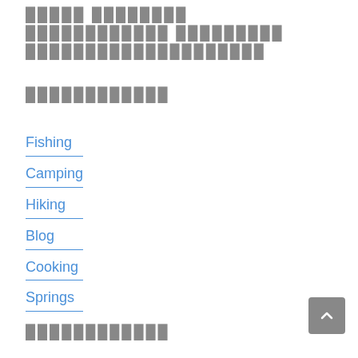█████ ████████ ████████████ █████████ ████████████████████
████████████
Fishing
Camping
Hiking
Blog
Cooking
Springs
████████████